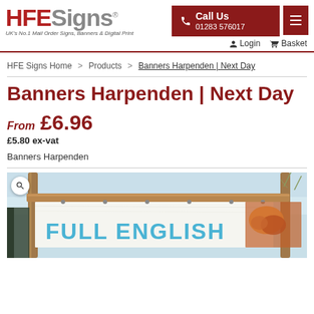HFESigns® – UK's No.1 Mail Order Signs, Banners & Digital Print | Call Us 01283 576017 | Login | Basket
HFE Signs Home > Products > Banners Harpenden | Next Day
Banners Harpenden | Next Day
From £6.96 £5.80 ex-vat
Banners Harpenden
[Figure (photo): A promotional banner reading 'FULL ENGLISH' in blue text, hung on a wooden frame/bamboo structure outdoors against a sky background, with food imagery visible on the right side.]